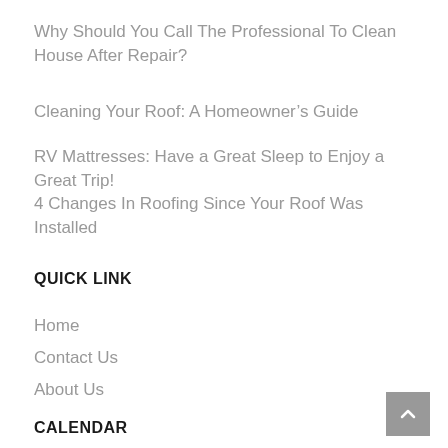Why Should You Call The Professional To Clean House After Repair?
Cleaning Your Roof: A Homeowner’s Guide
RV Mattresses: Have a Great Sleep to Enjoy a Great Trip!
4 Changes In Roofing Since Your Roof Was Installed
QUICK LINK
Home
Contact Us
About Us
CALENDAR